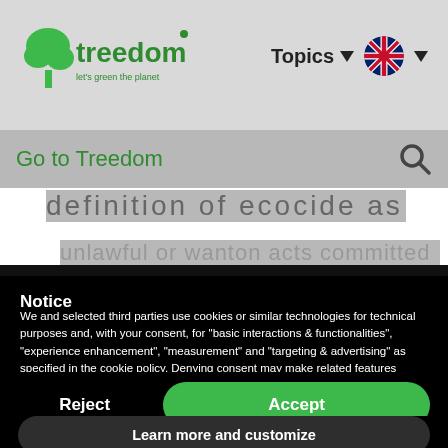[Figure (screenshot): Treedom website navigation bar with logo, Topics dropdown, and UK flag language selector]
Go to Treedom
definition of ecocide as
unlawful or wanton acts committed with
Notice
We and selected third parties use cookies or similar technologies for technical purposes and, with your consent, for "basic interactions & functionalities", "experience enhancement", "measurement" and "targeting & advertising" as specified in the cookie policy. Denying consent may make related features unavailable.
You can freely give, deny, or withdraw your consent at any time.
Reject
Accept
Learn more and customize